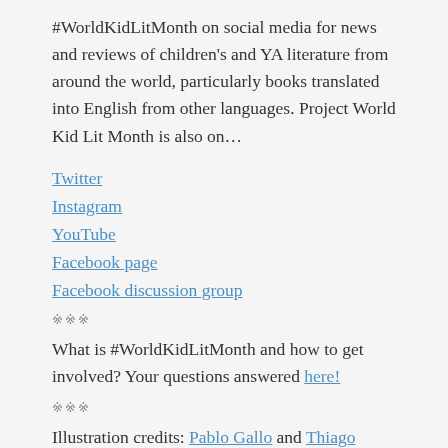#WorldKidLitMonth on social media for news and reviews of children's and YA literature from around the world, particularly books translated into English from other languages. Project World Kid Lit Month is also on...
Twitter
Instagram
YouTube
Facebook page
Facebook discussion group
※※※
What is #WorldKidLitMonth and how to get involved? Your questions answered here!
※※※
Illustration credits: Pablo Gallo and Thiago Lopes. Font courtesy of Elīna Brasliņa. Graphics designed by...